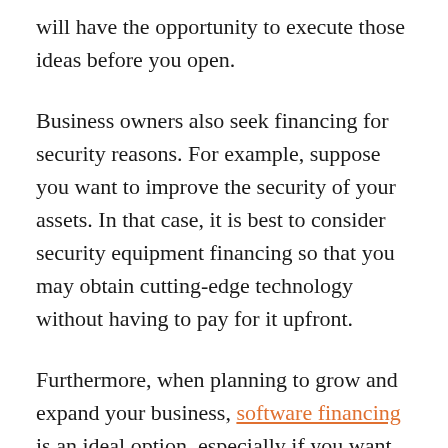will have the opportunity to execute those ideas before you open.
Business owners also seek financing for security reasons. For example, suppose you want to improve the security of your assets. In that case, it is best to consider security equipment financing so that you may obtain cutting-edge technology without having to pay for it upfront.
Furthermore, when planning to grow and expand your business, software financing is an ideal option, especially if you want to remain on top of the latest trends and overcome the difficulty of raising funds required to buy...